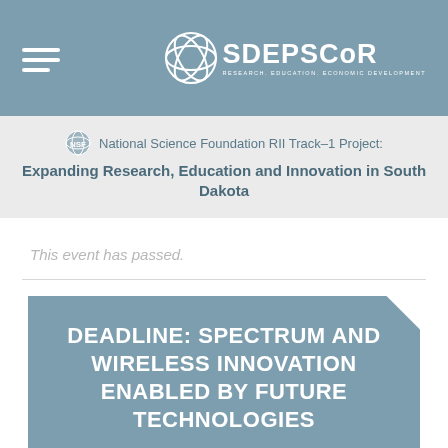SD EPSCoR — Research. Education. Economic Development.
National Science Foundation RII Track-1 Project: Expanding Research, Education and Innovation in South Dakota
This event has passed.
DEADLINE: SPECTRUM AND WIRELESS INNOVATION ENABLED BY FUTURE TECHNOLOGIES